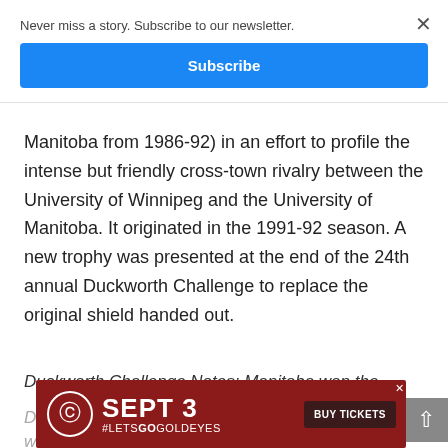Never miss a story. Subscribe to our newsletter.
Subscribe
Manitoba from 1986-92) in an effort to profile the intense but friendly cross-town rivalry between the University of Winnipeg and the University of Manitoba. It originated in the 1991-92 season. A new trophy was presented at the end of the 24th annual Duckworth Challenge to replace the original shield handed out.
Duckworth Challenge Notes: Manitoba won the Duckworth...tions with d...p in
[Figure (infographic): Red advertisement banner: SEPT 3 #LETSGOGOLDEYES BUY TICKETS with circular logo on left]